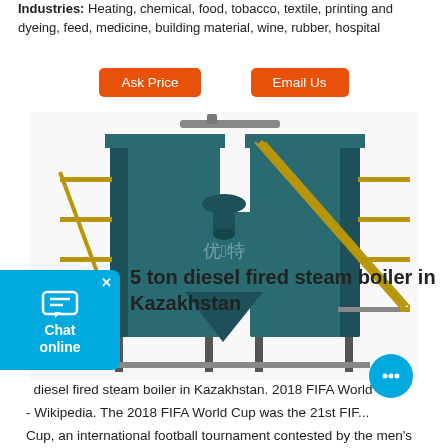Industries: Heating, chemical, food, tobacco, textile, printing and dyeing, feed, medicine, building material, wine, rubber, hospital
Ask Price
Email Us
[Figure (photo): Industrial steam boiler unit - large teal/dark green multi-section boiler with yellow scaffolding and access walkways, shown in 3D rendered illustration]
5 ton diesel fired steam boiler in Kazakhstan
diesel fired steam boiler in Kazakhstan. 2018 FIFA World Cup - Wikipedia. The 2018 FIFA World Cup was the 21st FIFA World Cup, an international football tournament contested by the men's